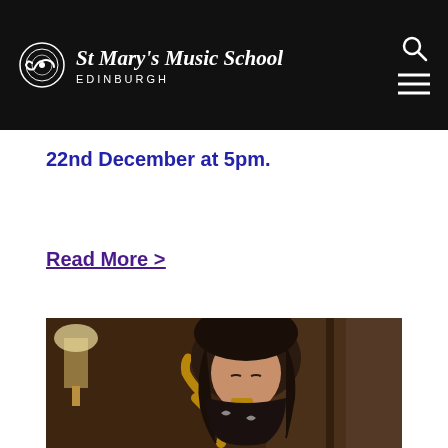St Mary's Music School EDINBURGH
22nd December at 5pm.
Read More >
[Figure (photo): A young woman with long dark hair playing a saxophone in a wood-panelled room with a lamp in the background.]